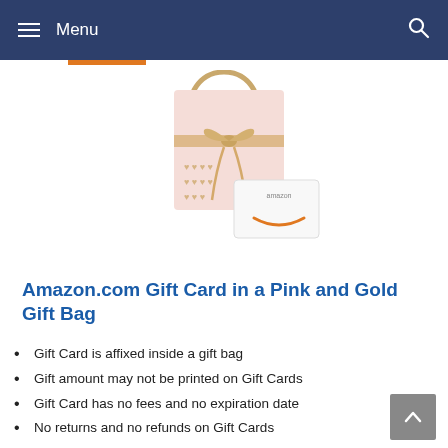Menu
[Figure (photo): Amazon.com Gift Card in a pink gift bag with gold hearts, gold ribbon bow and handle, with a white Amazon gift card leaning against it showing the Amazon smile logo]
Amazon.com Gift Card in a Pink and Gold Gift Bag
Gift Card is affixed inside a gift bag
Gift amount may not be printed on Gift Cards
Gift Card has no fees and no expiration date
No returns and no refunds on Gift Cards
Gift Card is redeemable towards millions of items storewide at Amazon.com